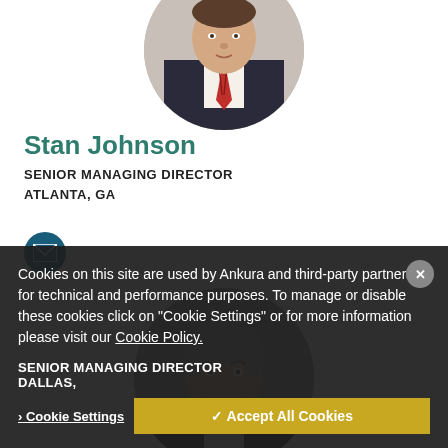[Figure (photo): Circular profile photo of Stan Johnson, a man in a suit with a red striped tie, partially cropped at top]
Stan Johnson
SENIOR MANAGING DIRECTOR
ATLANTA, GA
[Figure (illustration): Circular email icon button with dark teal background]
[Figure (photo): Circular profile photo of a middle-aged man with gray hair wearing a dark suit]
Cookies on this site are used by Ankura and third-party partners for technical and performance purposes. To manage or disable these cookies click on "Cookie Settings" or for more information please visit our Cookie Policy.
SENIOR MANAGING DIRECTOR
DALLAS,